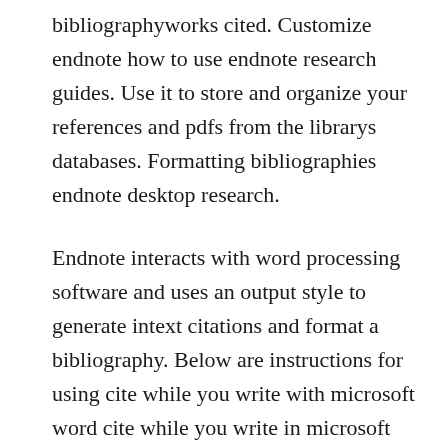bibliographyworks cited. Customize endnote how to use endnote research guides. Use it to store and organize your references and pdfs from the librarys databases. Formatting bibliographies endnote desktop research.
Endnote interacts with word processing software and uses an output style to generate intext citations and format a bibliography. Below are instructions for using cite while you write with microsoft word cite while you write in microsoft word on windows. When you click inside the bibliography,you can see